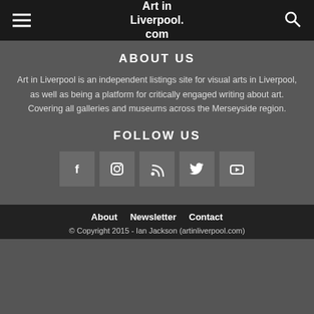Art in Liverpool.com
ABOUT US
Art in Liverpool is an independent listings site for visual arts in Liverpool, as well as being a platform for critically engaged writing about art. Covering all galleries and museums across the Merseyside region.
FOLLOW US
[Figure (infographic): Five social media icon buttons in a row: Facebook (f), Instagram, RSS feed, Twitter (bird), YouTube (play button). Each in a grey square.]
About   Newsletter   Contact
© Copyright 2015 - Ian Jackson (artinliverpool.com)